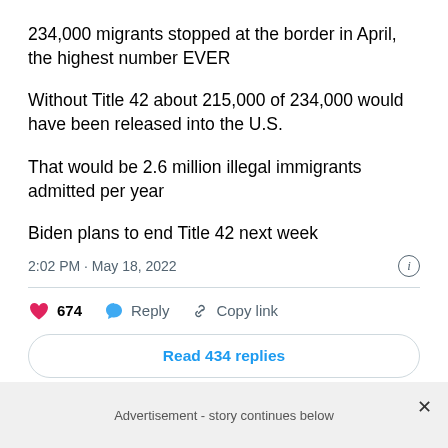234,000 migrants stopped at the border in April, the highest number EVER

Without Title 42 about 215,000 of 234,000 would have been released into the U.S.

That would be 2.6 million illegal immigrants admitted per year

Biden plans to end Title 42 next week
2:02 PM · May 18, 2022
674 · Reply · Copy link
Read 434 replies
Advertisement - story continues below